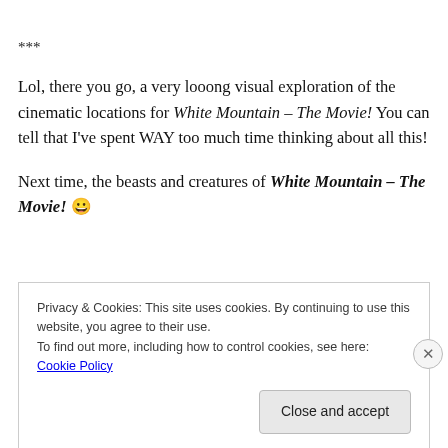***
Lol, there you go, a very looong visual exploration of the cinematic locations for White Mountain – The Movie! You can tell that I've spent WAY too much time thinking about all this!
Next time, the beasts and creatures of White Mountain – The Movie! 😀
Privacy & Cookies: This site uses cookies. By continuing to use this website, you agree to their use.
To find out more, including how to control cookies, see here: Cookie Policy